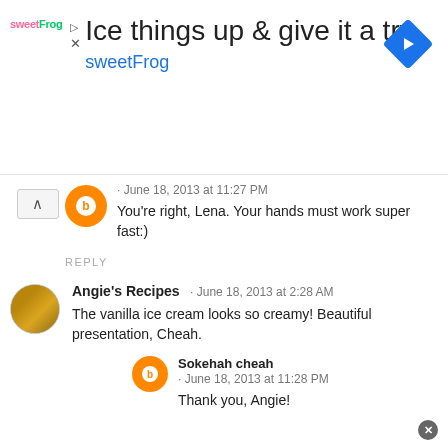[Figure (infographic): Advertisement banner for sweetFrog. Shows sweetFrog logo, headline 'Ice things up & give it a try', brand name 'sweetFrog' in blue, and a blue diamond navigation icon on the right. Controls for play and close on the left.]
· June 18, 2013 at 11:27 PM
You're right, Lena. Your hands must work super fast:)
REPLY
Angie's Recipes · June 18, 2013 at 2:28 AM
The vanilla ice cream looks so creamy! Beautiful presentation, Cheah.
Sokehah cheah · June 18, 2013 at 11:28 PM
Thank you, Angie!